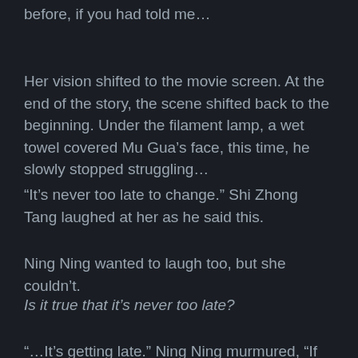before, if you had told me...
Her vision shifted to the movie screen. At the end of the story, the scene shifted back to the beginning. Under the filament lamp, a wet towel covered Mu Gua's face, this time, he slowly stopped struggling…
“It’s never too late to change.” Shi Zhong Tang laughed at her as he said this.
Ning Ning wanted to laugh too, but she couldn’t.
Is it true that it’s never too late?
“…It’s getting late.” Ning Ning murmured, “If Mu Er had chosen to become Lian Lian at the end, she would be